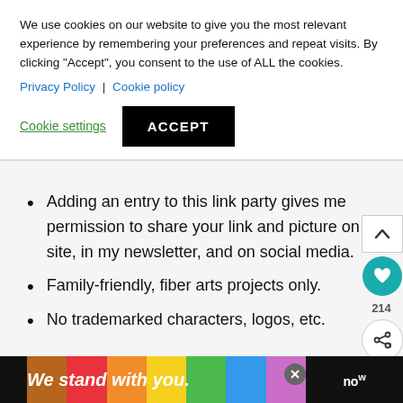We use cookies on our website to give you the most relevant experience by remembering your preferences and repeat visits. By clicking “Accept”, you consent to the use of ALL the cookies.
Privacy Policy | Cookie policy
Cookie settings
ACCEPT
Adding an entry to this link party gives me permission to share your link and picture on my site, in my newsletter, and on social media.
Family-friendly, fiber arts projects only.
No trademarked characters, logos, etc.
We stand with you.